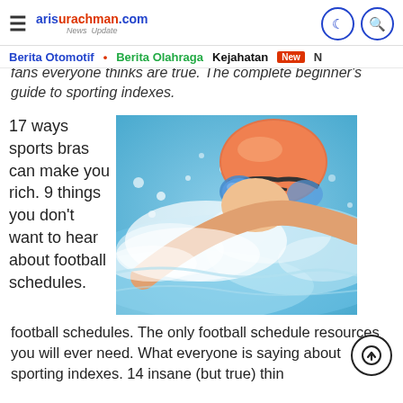arisurachman.com News Update
Berita Otomotif • Berita Olahraga Kejahatan New N
fans everyone thinks are true. The complete beginner's guide to sporting indexes.
17 ways sports bras can make you rich. 9 things you don't want to hear about football schedules.
[Figure (photo): Close-up photo of a swimmer wearing colorful goggles and swim cap, splashing through water]
The only football schedule resources you will ever need. What everyone is saying about sporting indexes. 14 insane (but true) things...